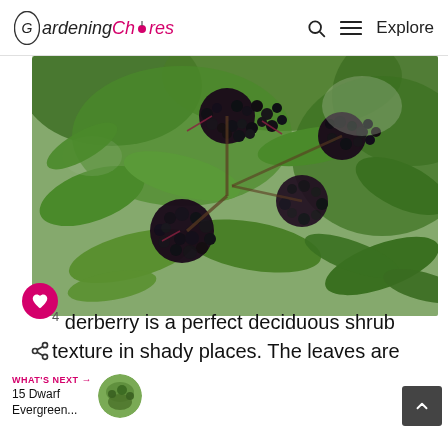Gardening Chores | Q ≡ Explore
[Figure (photo): Close-up photograph of elderberry plant with dark purple-black berry clusters hanging from branches with green leaves]
4 derberry is a perfect deciduous shrub texture in shady places. The leaves are beautifully segmented, like fronds, are light green, but there are lime varieties too.
WHAT'S NEXT → 15 Dwarf Evergreen...